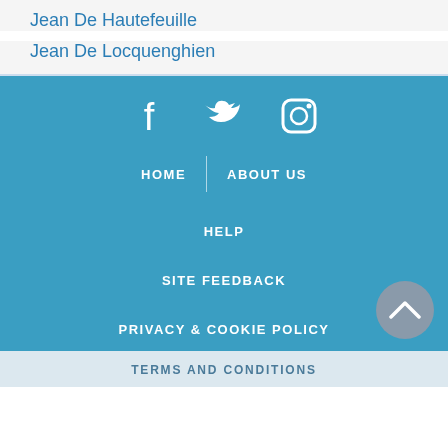Jean De Hautefeuille
Jean De Locquenghien
[Figure (infographic): Footer section with social media icons (Facebook, Twitter, Instagram), navigation links (HOME, ABOUT US, HELP, SITE FEEDBACK, PRIVACY & COOKIE POLICY), and a back-to-top button]
TERMS AND CONDITIONS